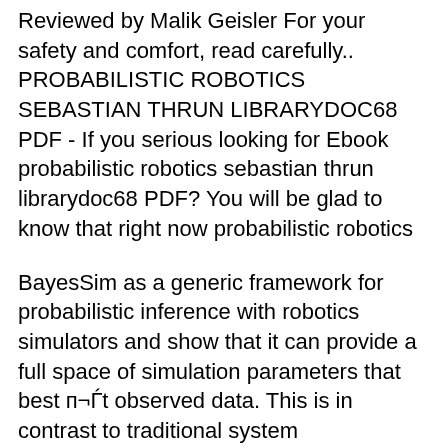Reviewed by Malik Geisler For your safety and comfort, read carefully.. PROBABILISTIC ROBOTICS SEBASTIAN THRUN LIBRARYDOC68 PDF - If you serious looking for Ebook probabilistic robotics sebastian thrun librarydoc68 PDF? You will be glad to know that right now probabilistic robotics
BayesSim as a generic framework for probabilistic inference with robotics simulators and show that it can provide a full space of simulation parameters that best п¬Ѓt observed data. This is in contrast to traditional system identп¬Ѓcation methods that only provide the best п¬Ѓtting solution. Second, we propose a robotics includes: